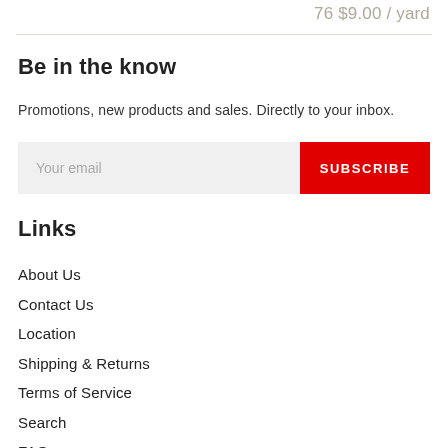76 $9.00 / yard
Be in the know
Promotions, new products and sales. Directly to your inbox.
Your email  SUBSCRIBE
Links
About Us
Contact Us
Location
Shipping & Returns
Terms of Service
Search
FAQ